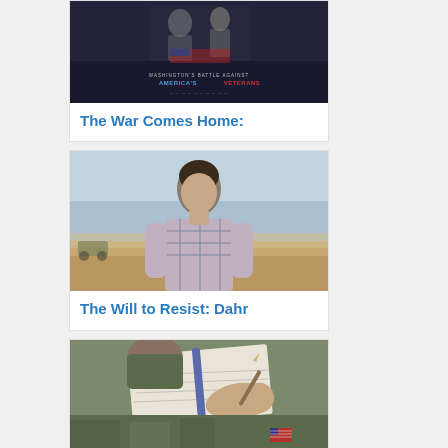[Figure (photo): Book cover with dark background showing 'Washington's Battle Against America's Veterans' text]
The War Comes Home:
[Figure (photo): Photo of a man in a plaid shirt standing in a desert landscape]
The Will to Resist: Dahr
[Figure (photo): Photo of a soldier in camouflage uniform writing in a notebook]